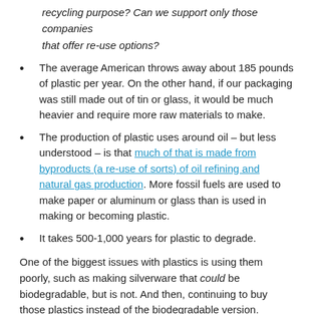recycling purpose? Can we support only those companies that offer re-use options?
The average American throws away about 185 pounds of plastic per year. On the other hand, if our packaging was still made out of tin or glass, it would be much heavier and require more raw materials to make.
The production of plastic uses around oil – but less understood – is that much of that is made from byproducts (a re-use of sorts) of oil refining and natural gas production. More fossil fuels are used to make paper or aluminum or glass than is used in making or becoming plastic.
It takes 500-1,000 years for plastic to degrade.
One of the biggest issues with plastics is using them poorly, such as making silverware that could be biodegradable, but is not. And then, continuing to buy those plastics instead of the biodegradable version.